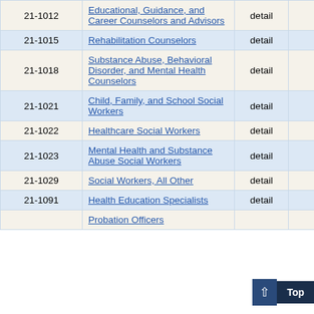| Code | Title | Type | Col4 | Col5 |
| --- | --- | --- | --- | --- |
| 21-1012 | Educational, Guidance, and Career Counselors and Advisors | detail | 90 | 8 |
| 21-1015 | Rehabilitation Counselors | detail | (8) |  |
| 21-1018 | Substance Abuse, Behavioral Disorder, and Mental Health Counselors | detail | 210 | 11 |
| 21-1021 | Child, Family, and School Social Workers | detail | 340 | 8 |
| 21-1022 | Healthcare Social Workers | detail | 50 | 11 |
| 21-1023 | Mental Health and Substance Abuse Social Workers | detail | 40 | 20 |
| 21-1029 | Social Workers, All Other | detail | 100 | 10 |
| 21-1091 | Health Education Specialists | detail | 7 |  |
|  | Probation Officers |  |  |  |